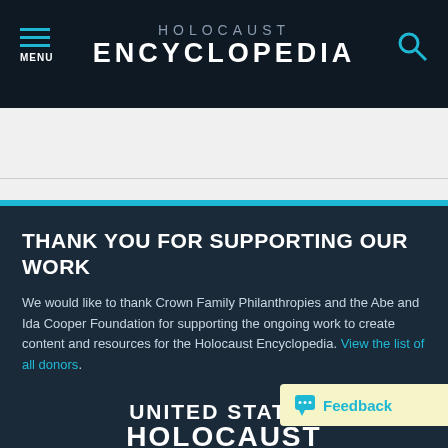HOLOCAUST ENCYCLOPEDIA — MENU
THANK YOU FOR SUPPORTING OUR WORK
We would like to thank Crown Family Philanthropies and the Abe and Ida Cooper Foundation for supporting the ongoing work to create content and resources for the Holocaust Encyclopedia. View the list of all donors.
UNITED STATES HOLOCAUST